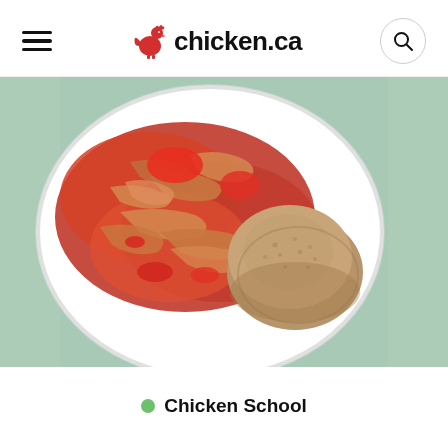chicken.ca
[Figure (photo): A white plate with shredded chicken in red tomato sauce and a whole wheat bun/roll placed on the right side, on a light green background]
Chicken School